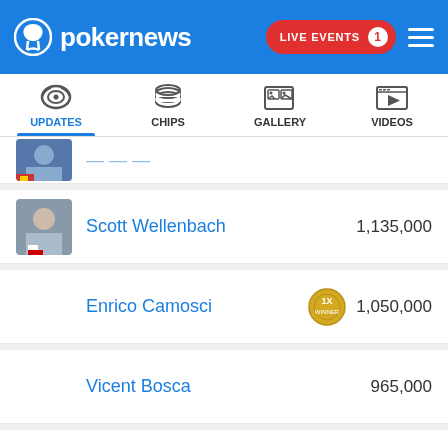pokernews — LIVE EVENTS 1
[Figure (screenshot): Navigation tabs: UPDATES (active, blue underline), CHIPS, GALLERY, VIDEOS with icons]
(partial row, obscured player)
Scott Wellenbach — 1,135,000
Enrico Camosci — 1x WINNER badge — 1,050,000
Vicent Bosca — 965,000
Simon Deadman — 750,000
Joao Simao — 2x WINNER badge — 725,000